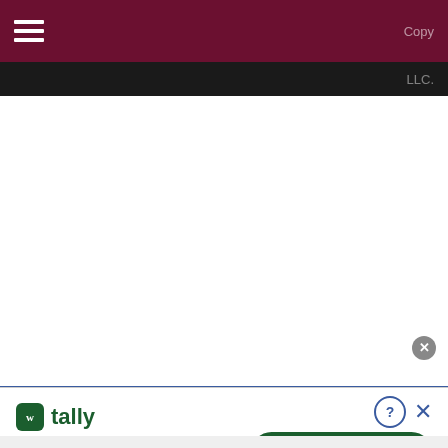Copy... LLC.
[Figure (screenshot): White blank body area of a webpage]
[Figure (infographic): Tally advertisement banner: logo with 'tally', tagline 'Fast credit card payoff', Download Now button, close and question-mark icons]